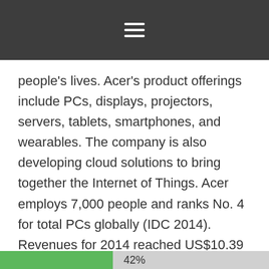≡
people's lives. Acer's product offerings include PCs, displays, projectors, servers, tablets, smartphones, and wearables. The company is also developing cloud solutions to bring together the Internet of Things. Acer employs 7,000 people and ranks No. 4 for total PCs globally (IDC 2014). Revenues for 2014 reached US$10.39 billion. Please visit www.acer.com for more information.
About WD
, a Western Digital company, is a long-
42%